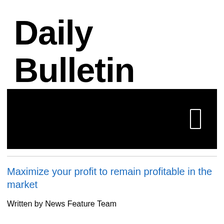Daily Bulletin
[Figure (photo): Black banner image with a small white rectangle/icon on the right side]
Maximize your profit to remain profitable in the market
Written by News Feature Team